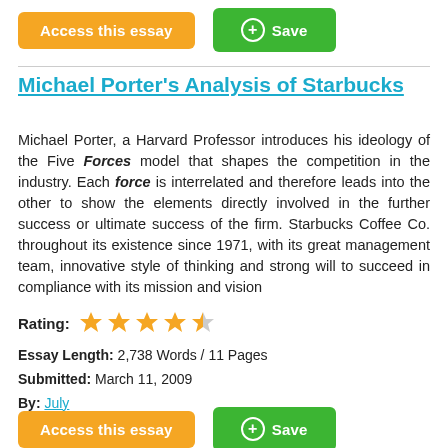[Figure (other): Orange 'Access this essay' button and green '+ Save' button at top]
Michael Porter's Analysis of Starbucks
Michael Porter, a Harvard Professor introduces his ideology of the Five Forces model that shapes the competition in the industry. Each force is interrelated and therefore leads into the other to show the elements directly involved in the further success or ultimate success of the firm. Starbucks Coffee Co. throughout its existence since 1971, with its great management team, innovative style of thinking and strong will to succeed in compliance with its mission and vision
Rating: 4.5 stars
Essay Length: 2,738 Words / 11 Pages
Submitted: March 11, 2009
By: July
[Figure (other): Orange 'Access this essay' button and green '+ Save' button at bottom]